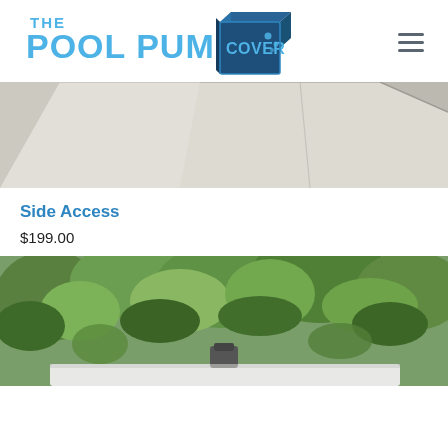[Figure (logo): The Pool Pump Cover logo — blue text 'THE POOL PUMP' with 'COVER' text overlaid on a 3D dark blue box icon with water bubbles]
[Figure (photo): Close-up photo of a beige/cream colored pool pump cover box, corner angle view showing two side panels]
Side Access
$199.00
[Figure (photo): Outdoor photo showing a white pool pump cover surrounded by green foliage/bushes, with a small dark vent or pipe visible at the top]